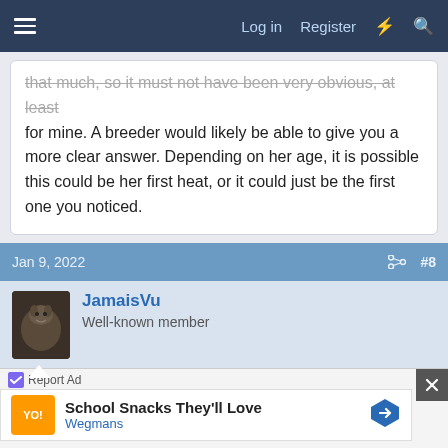Log in  Register
that much, so it must not have been very obvious, at least for mine. A breeder would likely be able to give you a more clear answer. Depending on her age, it is possible this could be her first heat, or it could just be the first one you noticed.
Jan 9, 2022  #8
JamaisVu
Well-known member
Honestly, I only noticed my girl chin was in heat when I still had the boy (neutered male, but that didn't seem to make a difference). He would start chatting away and losing his mind and I knew...I'd have to separate them for a while because he wouldn't let her eat/sleep/drink water and she
Report Ad
School Snacks They'll Love
Wegmans